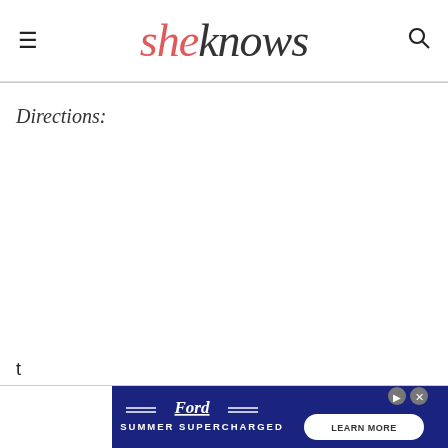sheknows
Directions:
t
[Figure (other): Ford Summer Supercharged advertisement banner with Ford logo, tagline 'SUMMER SUPERCHARGED', and 'LEARN MORE' button on dark blue background]